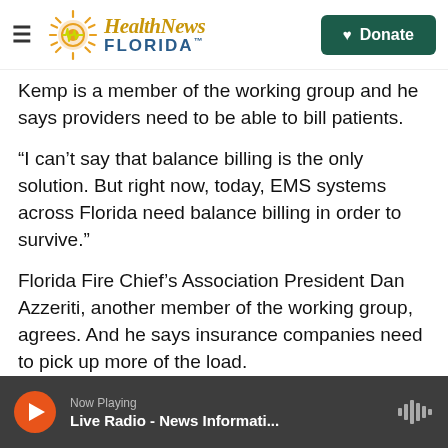Health News Florida — Donate
Kemp is a member of the working group and he says providers need to be able to bill patients.
“I can’t say that balance billing is the only solution. But right now, today, EMS systems across Florida need balance billing in order to survive.”
Florida Fire Chief’s Association President Dan Azzeriti, another member of the working group, agrees. And he says insurance companies need to pick up more of the load.
“Fire departments are doing this for 25 cents on a dollar. We have nothing else we can give, there’s
Now Playing — Live Radio - News Informati...